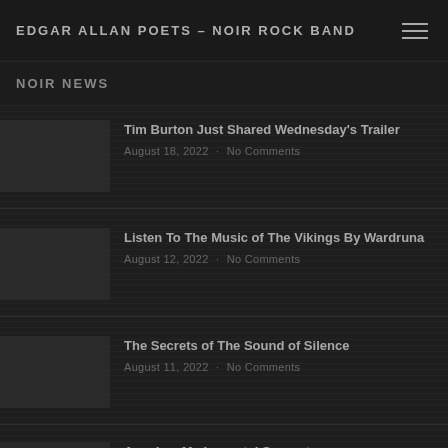EDGAR ALLAN POETS – NOIR ROCK BAND
NOIR NEWS
Tim Burton Just Shared Wednesday's Trailer
August 18, 2022 · No Comments
Listen To The Music of The Vikings By Wardruna
August 12, 2022 · No Comments
The Secrets of The Sound of Silence
August 11, 2022 · No Comments
Amy Lee My Immortal Superstar